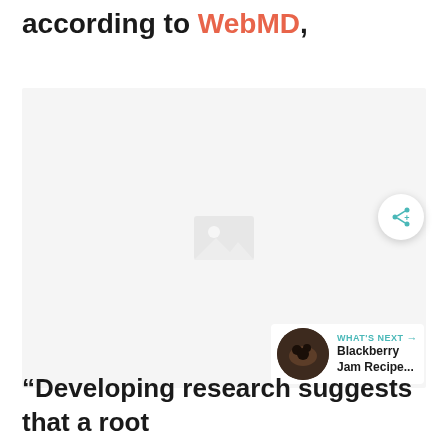according to WebMD,
[Figure (photo): A photo placeholder / loading image area with a light gray background and a faint image icon in the center. A circular share button and a 'WHAT'S NEXT' card with a Blackberry Jam Recipe thumbnail are overlaid on the lower right.]
“Developing research suggests that a root